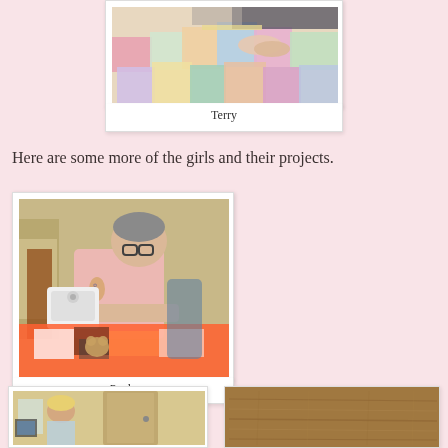[Figure (photo): Person working with colorful quilt fabric pieces on a table]
Terry
Here are some more of the girls and their projects.
[Figure (photo): Paula sitting at a sewing machine working on colorful fabric]
Paula
[Figure (photo): Person in a room, partial view]
[Figure (photo): Brown wooden surface or door]